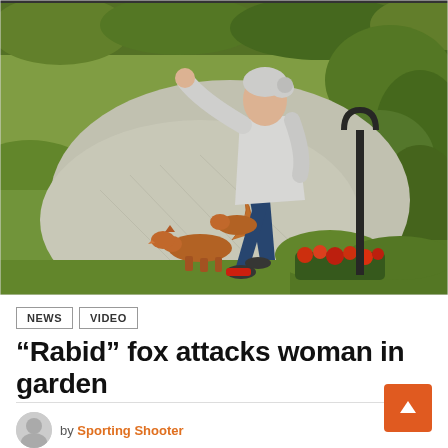[Figure (photo): Security camera footage showing a woman in a garden pathway being attacked by a fox that is biting/grabbing at her leg. The woman is shown mid-kick trying to fend off the animal. The scene is outdoors with green grass, bushes, a stone path, red flowers near a lamp post.]
NEWS   VIDEO
“Rabid” fox attacks woman in garden
by Sporting Shooter